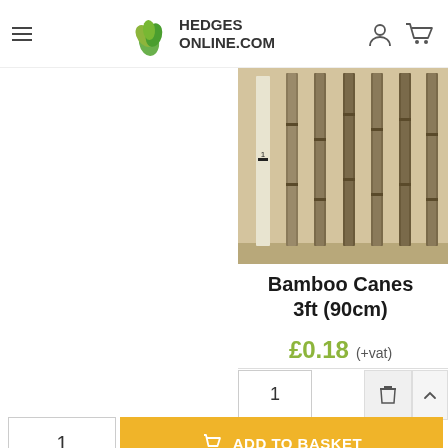HEDGESONLINE.COM
[Figure (photo): Photo of bamboo canes (3ft/90cm) standing vertically leaning against a wall, showing their natural colour and texture]
Bamboo Canes 3ft (90cm)
£0.18  (+vat)
1
1  ADD TO BASKET